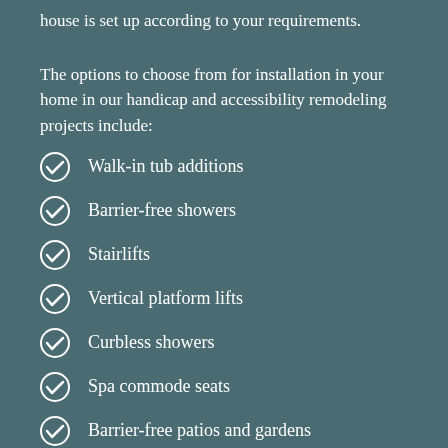house is set up according to your requirements.
The options to choose from for installation in your home in our handicap and accessibility remodeling projects include:
Walk-in tub additions
Barrier-free showers
Stairlifts
Vertical platform lifts
Curbless showers
Spa commode seats
Barrier-free patios and gardens